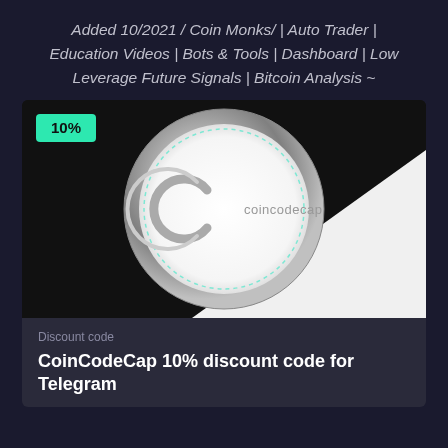Added 10/2021 / Coin Monks/ | Auto Trader | Education Videos | Bots & Tools | Dashboard | Low Leverage Future Signals | Bitcoin Analysis ~
[Figure (logo): CoinCodeCap logo — a metallic silver circular badge with a white interior showing a stylized 'C' arc symbol and the text 'coincodecap', set against a black-and-white diagonal background. A green '10%' badge is overlaid in the top-left corner.]
Discount code
CoinCodeCap 10% discount code for Telegram